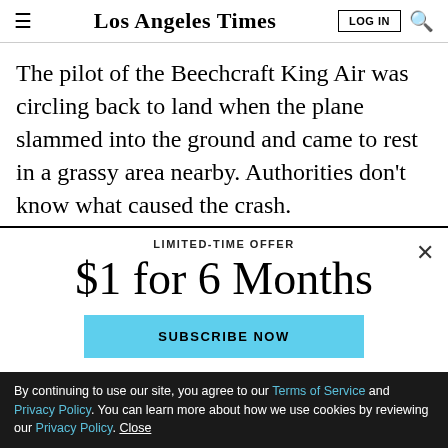Los Angeles Times
The pilot of the Beechcraft King Air was circling back to land when the plane slammed into the ground and came to rest in a grassy area nearby. Authorities don't know what caused the crash.
LIMITED-TIME OFFER
$1 for 6 Months
SUBSCRIBE NOW
By continuing to use our site, you agree to our Terms of Service and Privacy Policy. You can learn more about how we use cookies by reviewing our Privacy Policy. Close